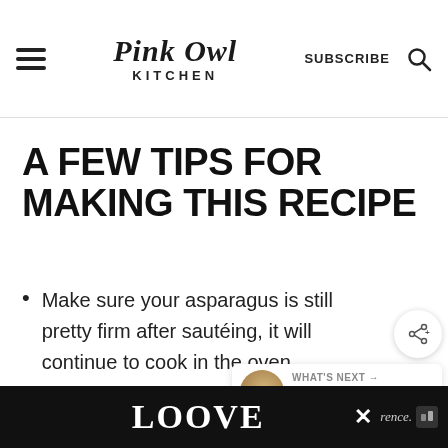Pink Owl Kitchen — SUBSCRIBE
A FEW TIPS FOR MAKING THIS RECIPE
Make sure your asparagus is still pretty firm after sautéing, it will continue to cook in the oven
Feel free to substitute or add different
[Figure (screenshot): Share button overlay (circle with share icon), 'What's Next' card showing 'Classic Creamy...' with thumbnail]
[Figure (infographic): Bottom ad bar with 'LOOVE' text graphic and close button]